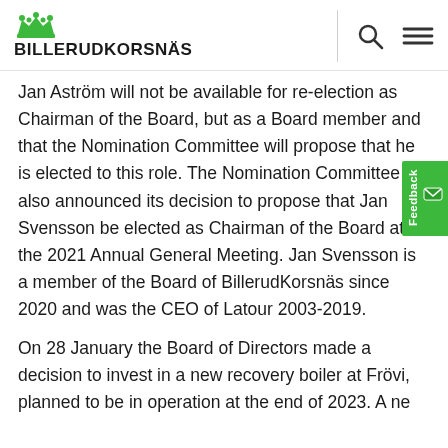BILLERUDKORSNÄS
Jan Aström will not be available for re-election as Chairman of the Board, but as a Board member and that the Nomination Committee will propose that he is elected to this role. The Nomination Committee also announced its decision to propose that Jan Svensson be elected as Chairman of the Board at the 2021 Annual General Meeting. Jan Svensson is a member of the Board of BillerudKorsnäs since 2020 and was the CEO of Latour 2003-2019.
On 28 January the Board of Directors made a decision to invest in a new recovery boiler at Frövi, planned to be in operation at the end of 2023. A ne...